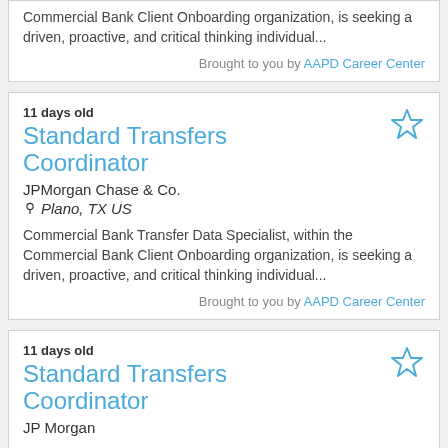Commercial Bank Client Onboarding organization, is seeking a driven, proactive, and critical thinking individual...
Brought to you by AAPD Career Center
11 days old
Standard Transfers Coordinator
JPMorgan Chase & Co.
Plano, TX US
Commercial Bank Transfer Data Specialist, within the Commercial Bank Client Onboarding organization, is seeking a driven, proactive, and critical thinking individual...
Brought to you by AAPD Career Center
11 days old
Standard Transfers Coordinator
JP Morgan